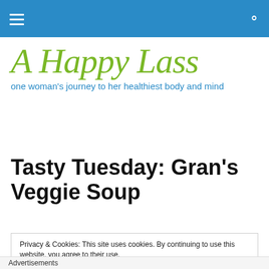A Happy Lass — navigation bar
[Figure (logo): A Happy Lass blog logo in green cursive script with blue tagline: one woman's journey to her healthiest body and mind]
Tasty Tuesday: Gran's Veggie Soup
Privacy & Cookies: This site uses cookies. By continuing to use this website, you agree to their use. To find out more, including how to control cookies, see here: Cookie Policy
Advertisements